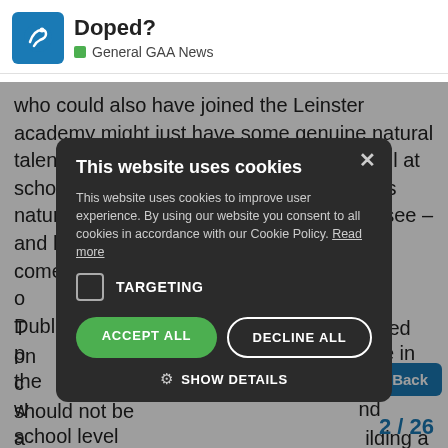Doped? — General GAA News
who could also have joined the Leinster academy might just have some genuine natural talent? No doubt he has been coached well at school and club level over the years but his natural talent is also surely there for all to see – and he is not a[...] g' how come the o[...] he Dublin p[...] bate in the w[...] nd school level a[...] eland winning h[...] stem is clearly fa[...]
[Figure (screenshot): Cookie consent dialog with dark background. Title: 'This website uses cookies'. Body text: 'This website uses cookies to improve user experience. By using our website you consent to all cookies in accordance with our Cookie Policy. Read more'. Checkbox for TARGETING. Buttons: ACCEPT ALL (green), DECLINE ALL (outline). SHOW DETAILS option with gear icon. Close X button in top right.]
T[...] nded on c[...] rd should not be a[...] ilding a super ra[...] n[...] s[...] nd caters for each a[...] every girl in the club and school. It is abou
2 / 26